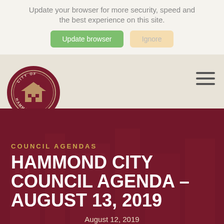Update your browser for more security, speed and the best experience on this site.
Update browser   Ignore
[Figure (logo): City of Hammond circular seal/logo with building illustration, dark red background with white text around the border reading CITY OF HAMMOND]
COUNCIL AGENDAS
HAMMOND CITY COUNCIL AGENDA – AUGUST 13, 2019
August 12, 2019